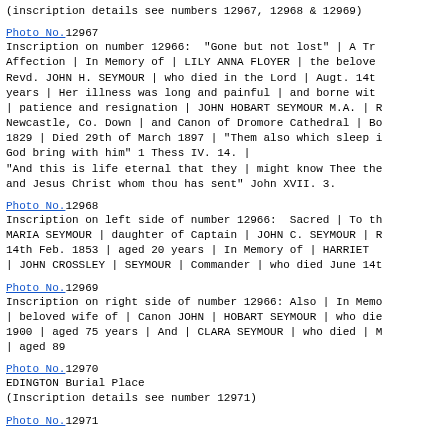(inscription details see numbers 12967, 12968 & 12969)
Photo No.12967
Inscription on number 12966:  "Gone but not lost" | A Tr
Affection | In Memory of | LILY ANNA FLOYER | the belove
Revd. JOHN H. SEYMOUR | who died in the Lord | Augt. 14t
years | Her illness was long and painful | and borne wit
| patience and resignation | JOHN HOBART SEYMOUR M.A. |
Newcastle, Co. Down | and Canon of Dromore Cathedral | B
1829 | Died 29th of March 1897 | "Them also which sleep
God bring with him" 1 Thess IV. 14. |
"And this is life eternal that they | might know Thee th
and Jesus Christ whom thou has sent" John XVII. 3.
Photo No.12968
Inscription on left side of number 12966:  Sacred | To t
MARIA SEYMOUR | daughter of Captain | JOHN C. SEYMOUR |
14th Feb. 1853 | aged 20 years | In Memory of | HARRIET
| JOHN CROSSLEY | SEYMOUR | Commander | who died June 14
Photo No.12969
Inscription on right side of number 12966: Also | In Mem
| beloved wife of | Canon JOHN | HOBART SEYMOUR | who di
1900 | aged 75 years | And | CLARA SEYMOUR | who died | 
| aged 89
Photo No.12970
EDINGTON Burial Place
(Inscription details see number 12971)
Photo No.12971